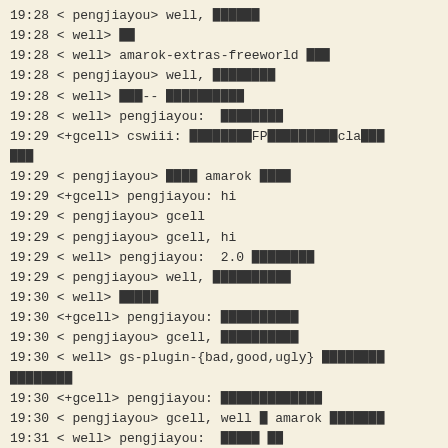19:28 < pengjiayou> well, ██████
19:28 < well> ██
19:28 < well> amarok-extras-freeworld ███
19:28 < pengjiayou> well, ████████
19:28 < well> ███-- ██████████
19:28 < well> pengjiayou:  ████████
19:29 <+gcell> cswiii: ████████FP█████████cla███
███
19:29 < pengjiayou> ████ amarok ████
19:29 <+gcell> pengjiayou: hi
19:29 < pengjiayou> gcell
19:29 < pengjiayou> gcell, hi
19:29 < well> pengjiayou:  2.0 ████████
19:29 < pengjiayou> well, ██████████
19:30 < well> █████
19:30 <+gcell> pengjiayou: ██████████
19:30 < pengjiayou> gcell, ██████████
19:30 < well> gs-plugin-{bad,good,ugly} ████████
████████
19:30 <+gcell> pengjiayou: █████████████
19:30 < pengjiayou> gcell, well █ amarok ███████
19:31 < well> pengjiayou:  █████ ██
19:31 <+gcell> pengjiayou: ███amarok
19:31  * gcell ████████.......